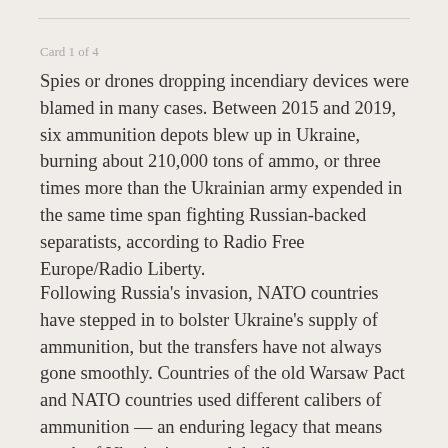Card 1 of 4
Spies or drones dropping incendiary devices were blamed in many cases. Between 2015 and 2019, six ammunition depots blew up in Ukraine, burning about 210,000 tons of ammo, or three times more than the Ukrainian army expended in the same time span fighting Russian-backed separatists, according to Radio Free Europe/Radio Liberty.
Following Russia's invasion, NATO countries have stepped in to bolster Ukraine's supply of ammunition, but the transfers have not always gone smoothly. Countries of the old Warsaw Pact and NATO countries used different calibers of ammunition — an enduring legacy that means much of Ukraine's arsenal, built